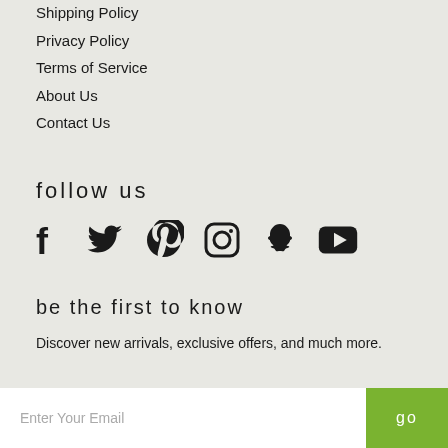Shipping Policy
Privacy Policy
Terms of Service
About Us
Contact Us
follow us
[Figure (infographic): Social media icons: Facebook, Twitter, Pinterest, Instagram, Snapchat, YouTube]
be the first to know
Discover new arrivals, exclusive offers, and much more.
Enter Your Email  go